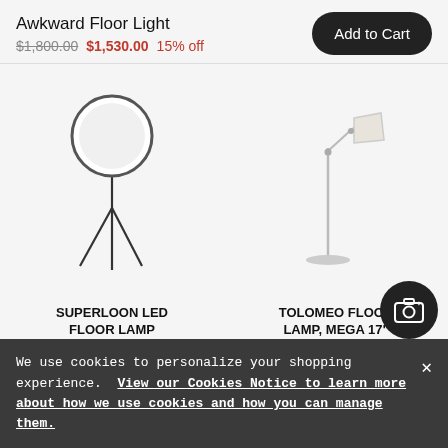Awkward Floor Light
$1,800.00  $1,530.00  15% off
Add to Cart
[Figure (photo): Superloon LED Floor Lamp product image — circular illuminated disc on tripod stand]
SUPERLOON LED FLOOR LAMP
[Figure (photo): Tolomeo Floor Lamp Mega 17 inch product image — articulated arm lamp with shade]
TOLOMEO FLOOR LAMP, MEGA 17"
We use cookies to personalize your shopping experience. View our Cookies Notice to learn more about how we use cookies and how you can manage them.